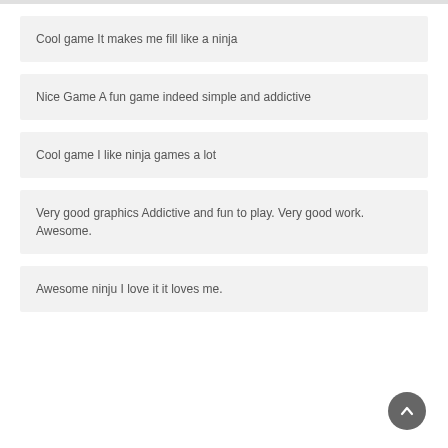Cool game It makes me fill like a ninja
Nice Game A fun game indeed simple and addictive
Cool game I like ninja games a lot
Very good graphics Addictive and fun to play. Very good work. Awesome.
Awesome ninju I love it it loves me.